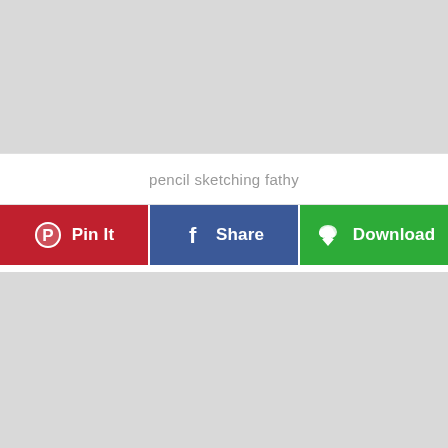[Figure (other): Gray placeholder image area (top)]
pencil sketching fathy
[Figure (infographic): Three action buttons: Pin It (red, Pinterest), Share (blue, Facebook), Download (green, cloud icon)]
[Figure (other): Gray placeholder image area (bottom)]